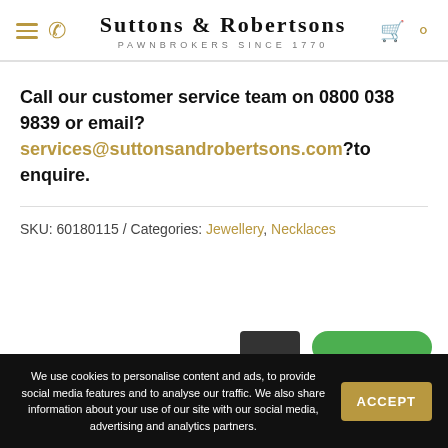Suttons & Robertsons — Pawnbrokers Since 1770
Call our customer service team on 0800 038 9839 or email? services@suttonsandrobertsons.com ?to enquire.
SKU: 60180115 / Categories: Jewellery, Necklaces
We use cookies to personalise content and ads, to provide social media features and to analyse our traffic. We also share information about your use of our site with our social media, advertising and analytics partners.